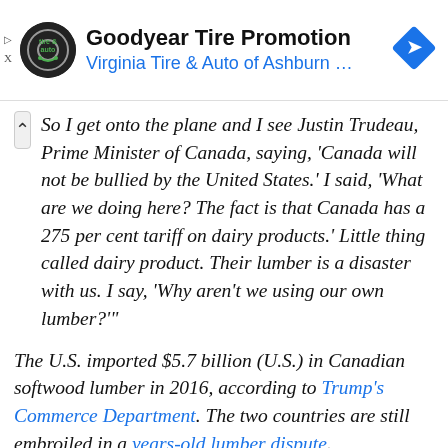[Figure (screenshot): Goodyear Tire Promotion advertisement banner with Virginia Tire & Auto of Ashburn logo and blue navigation arrow icon]
So I get onto the plane and I see Justin Trudeau, Prime Minister of Canada, saying, 'Canada will not be bullied by the United States.' I said, 'What are we doing here? The fact is that Canada has a 275 per cent tariff on dairy products.' Little thing called dairy product. Their lumber is a disaster with us. I say, 'Why aren't we using our own lumber?'"
The U.S. imported $5.7 billion (U.S.) in Canadian softwood lumber in 2016, according to Trump's Commerce Department. The two countries are still embroiled in a years-old lumber dispute.